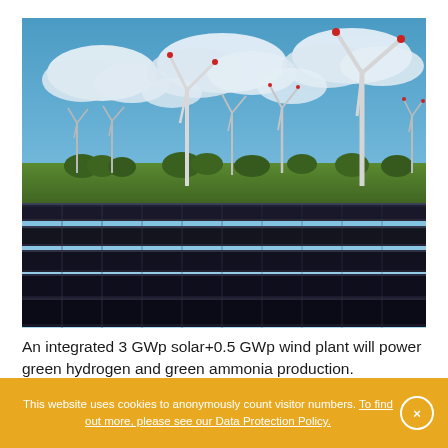[Figure (photo): Aerial/ground-level photograph of a large solar panel farm in the foreground with rows of photovoltaic panels, and multiple wind turbines in the background against a blue sky with white clouds.]
An integrated 3 GWp solar+0.5 GWp wind plant will power green hydrogen and green ammonia production.
Image: Hpgruesen, Pixabay
This website uses cookies to anonymously count visitor numbers. To find out more, please see our Data Protection Policy.